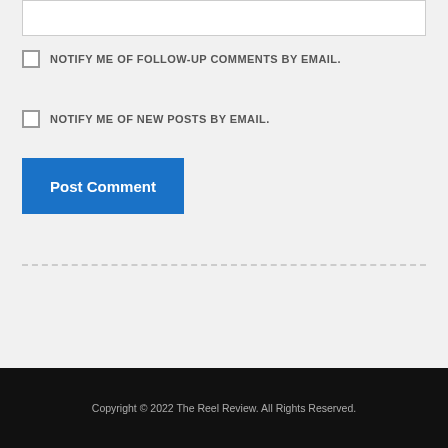[textarea input field]
NOTIFY ME OF FOLLOW-UP COMMENTS BY EMAIL.
NOTIFY ME OF NEW POSTS BY EMAIL.
Post Comment
Copyright © 2022 The Reel Review. All Rights Reserved.